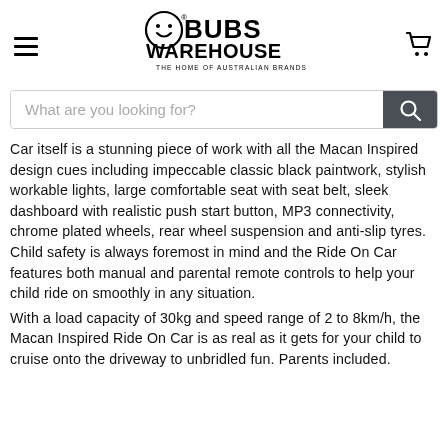Bubs Warehouse - The Home of Australian Brands
Car itself is a stunning piece of work with all the Macan Inspired design cues including impeccable classic black paintwork, stylish workable lights, large comfortable seat with seat belt, sleek dashboard with realistic push start button, MP3 connectivity, chrome plated wheels, rear wheel suspension and anti-slip tyres. Child safety is always foremost in mind and the Ride On Car features both manual and parental remote controls to help your child ride on smoothly in any situation.
With a load capacity of 30kg and speed range of 2 to 8km/h, the Macan Inspired Ride On Car is as real as it gets for your child to cruise onto the driveway to unbridled fun. Parents included.